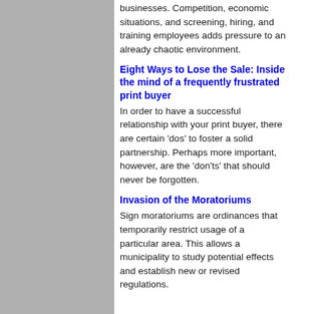businesses. Competition, economic situations, and screening, hiring, and training employees adds pressure to an already chaotic environment.
Eight Ways to Lose the Sale: Inside the mind of a frequently frustrated print buyer
In order to have a successful relationship with your print buyer, there are certain 'dos' to foster a solid partnership. Perhaps more important, however, are the 'don'ts' that should never be forgotten.
Invasion of the Moratoriums
Sign moratoriums are ordinances that temporarily restrict usage of a particular area. This allows a municipality to study potential effects and establish new or revised regulations.